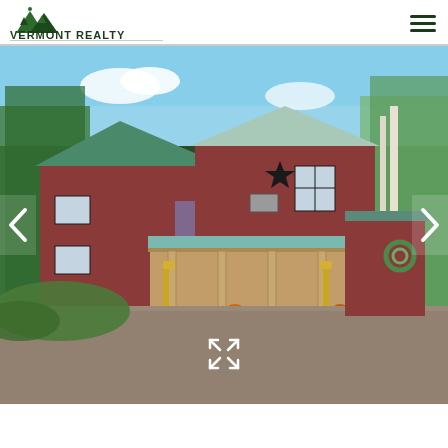Vermont Realty Services
[Figure (photo): Exterior photo of a red barn-style house with green metal roof, covered porch with wooden posts decorated with corn stalks and pumpkins, surrounded by trees with autumn foliage, gravel driveway in foreground. Navigation arrows on left and right sides. Expand icon at bottom center.]